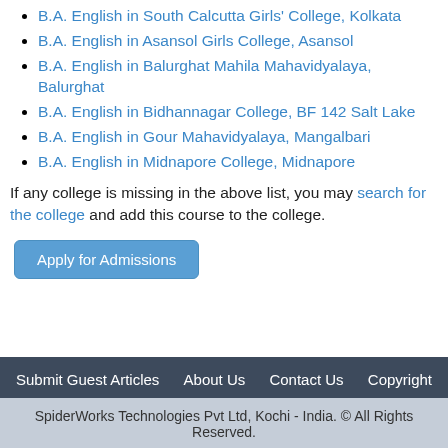B.A. English in South Calcutta Girls' College, Kolkata
B.A. English in Asansol Girls College, Asansol
B.A. English in Balurghat Mahila Mahavidyalaya, Balurghat
B.A. English in Bidhannagar College, BF 142 Salt Lake
B.A. English in Gour Mahavidyalaya, Mangalbari
B.A. English in Midnapore College, Midnapore
If any college is missing in the above list, you may search for the college and add this course to the college.
Apply for Admissions
Submit Guest Articles   About Us   Contact Us   Copyright
SpiderWorks Technologies Pvt Ltd, Kochi - India. © All Rights Reserved.